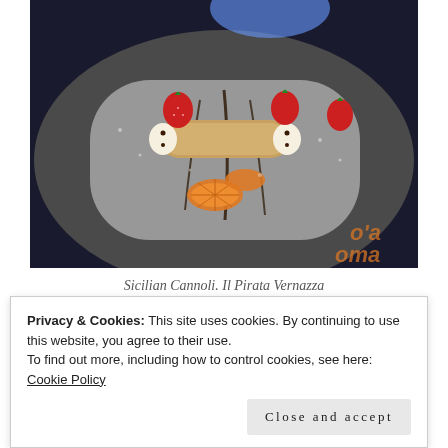[Figure (photo): A plate of Sicilian Cannoli dusted with powdered sugar, garnished with strawberries and orange slices with chocolate drizzle, on a dark plate. Il Pirata Vernazza restaurant.]
Sicilian Cannoli. Il Pirata Vernazza
Privacy & Cookies: This site uses cookies. By continuing to use this website, you agree to their use.
To find out more, including how to control cookies, see here: Cookie Policy
Close and accept